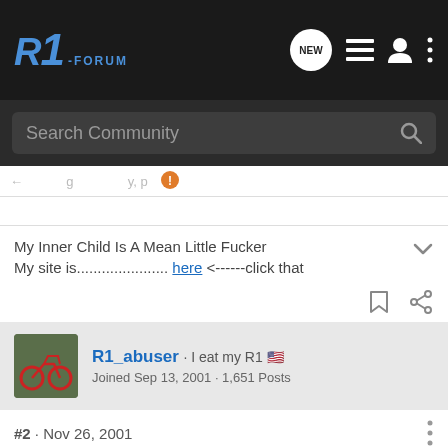R1-FORUM
Search Community
My Inner Child Is A Mean Little Fucker
My site is...................... here <------click that
R1_abuser · I eat my R1
Joined Sep 13, 2001 · 1,651 Posts
#2 · Nov 26, 2001
Ya tell me about it. I want the full exhaust system for my bike but, I would also like to see hard wood floors in my kitchen.